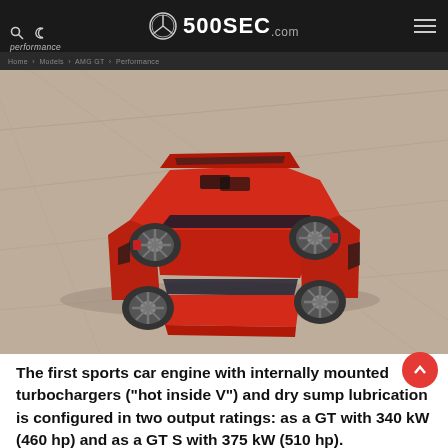performance — 500SEC.com
[Figure (photo): Top-down aerial view of a red Mercedes-AMG GT sports car on a sandy/concrete surface]
The first sports car engine with internally mounted turbochargers (“hot inside V”) and dry sump lubrication is configured in two output ratings: as a GT with 340 kW (460 hp) and as a GT S with 375 kW (510 hp).